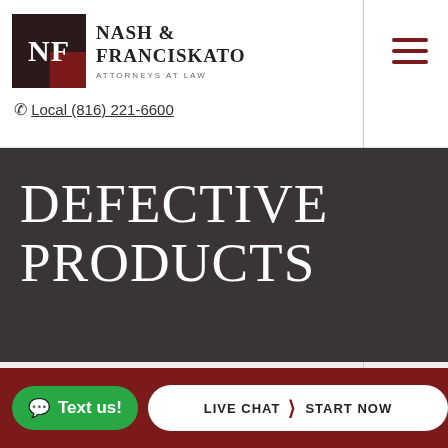Nash & Franciskato Attorneys at Law — Local (816) 221-6600
DEFECTIVE PRODUCTS
PARAGARD IUD
Text us! | LIVE CHAT  START NOW